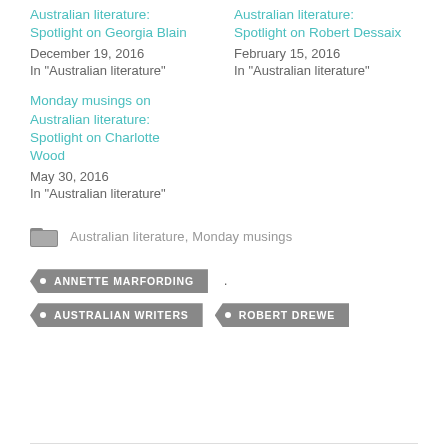Australian literature: Spotlight on Georgia Blain
December 19, 2016
In "Australian literature"
Australian literature: Spotlight on Robert Dessaix
February 15, 2016
In "Australian literature"
Monday musings on Australian literature: Spotlight on Charlotte Wood
May 30, 2016
In "Australian literature"
Australian literature, Monday musings
• ANNETTE MARFORDING
• AUSTRALIAN WRITERS  • ROBERT DREWE